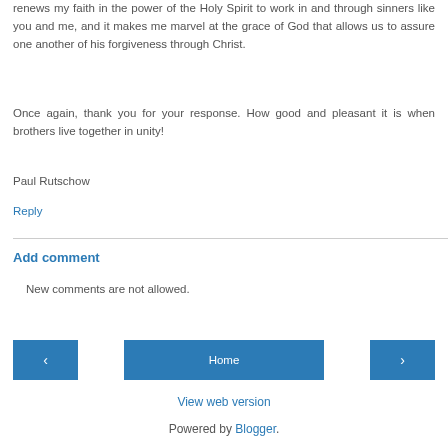renews my faith in the power of the Holy Spirit to work in and through sinners like you and me, and it makes me marvel at the grace of God that allows us to assure one another of his forgiveness through Christ.
Once again, thank you for your response. How good and pleasant it is when brothers live together in unity!
Paul Rutschow
Reply
Add comment
New comments are not allowed.
‹
Home
›
View web version
Powered by Blogger.